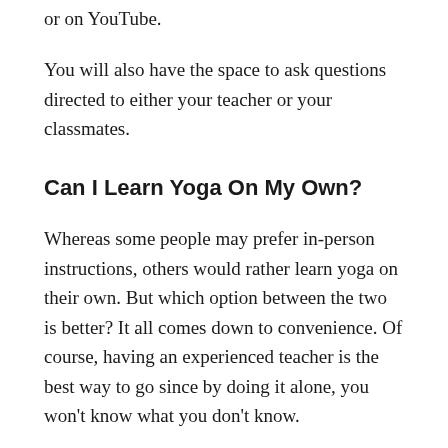or on YouTube.
You will also have the space to ask questions directed to either your teacher or your classmates.
Can I Learn Yoga On My Own?
Whereas some people may prefer in-person instructions, others would rather learn yoga on their own. But which option between the two is better? It all comes down to convenience. Of course, having an experienced teacher is the best way to go since by doing it alone, you won’t know what you don’t know.